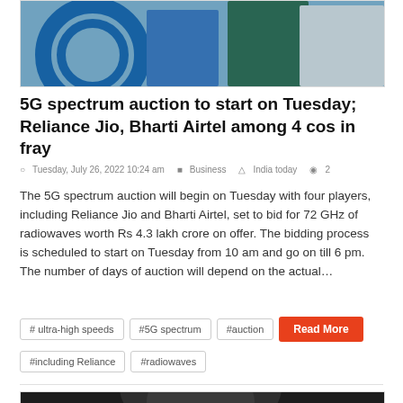[Figure (photo): Top portion of a news article image showing people in front of a blue circular logo background]
5G spectrum auction to start on Tuesday; Reliance Jio, Bharti Airtel among 4 cos in fray
Tuesday, July 26, 2022 10:24 am   Business   India today   2
The 5G spectrum auction will begin on Tuesday with four players, including Reliance Jio and Bharti Airtel, set to bid for 72 GHz of radiowaves worth Rs 4.3 lakh crore on offer. The bidding process is scheduled to start on Tuesday from 10 am and go on till 6 pm. The number of days of auction will depend on the actual…
# ultra-high speeds
#5G spectrum
#auction
#including Reliance
#radiowaves
[Figure (photo): Bottom portion showing another news article image, dark/blurred photo of a person]